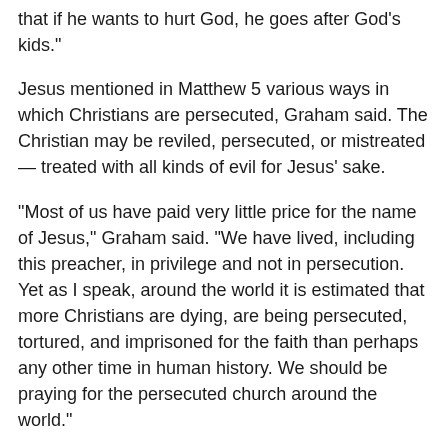that if he wants to hurt God, he goes after God's kids."
Jesus mentioned in Matthew 5 various ways in which Christians are persecuted, Graham said. The Christian may be reviled, persecuted, or mistreated — treated with all kinds of evil for Jesus' sake.
"Most of us have paid very little price for the name of Jesus," Graham said. "We have lived, including this preacher, in privilege and not in persecution. Yet as I speak, around the world it is estimated that more Christians are dying, are being persecuted, tortured, and imprisoned for the faith than perhaps any other time in human history. We should be praying for the persecuted church around the world."
Graham noted that Jesus Himself likewise was persecuted, and He was ultimately placed on the cross because of lies and slander.
"We are not greater than our master," Graham said. "Have you noticed that often today the media in particular portrays Christians as extremists, as intolerant, as hate-mongers, telling lies about who we are as believers and followers of Christ?"